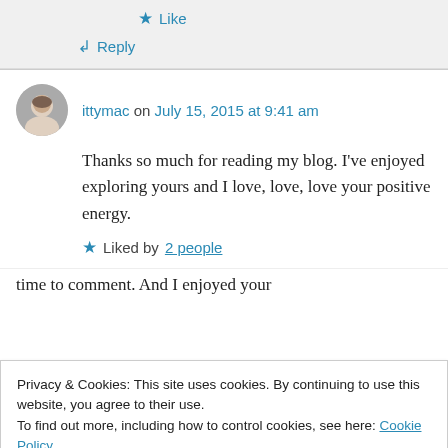★ Like
↪ Reply
ittymac on July 15, 2015 at 9:41 am
Thanks so much for reading my blog. I've enjoyed exploring yours and I love, love, love your positive energy.
★ Liked by 2 people
↪ Reply
Privacy & Cookies: This site uses cookies. By continuing to use this website, you agree to their use.
To find out more, including how to control cookies, see here: Cookie Policy
Close and accept
time to comment. And I enjoyed your